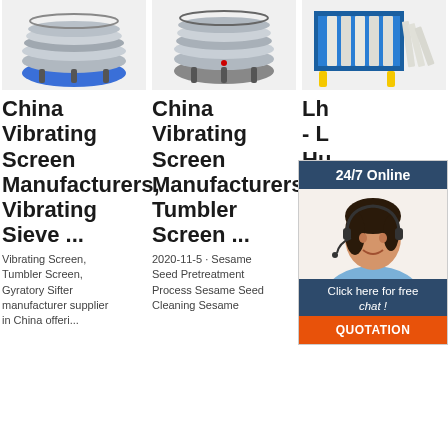[Figure (photo): Circular vibrating screen/sieve machine with blue base]
[Figure (photo): Circular vibrating screen machine, silver/stainless steel]
[Figure (photo): Industrial filter press machine, blue frame with white plates]
[Figure (photo): 24/7 Online chat agent - woman with headset smiling]
China Vibrating Screen Manufacturers, Vibrating Sieve ...
China Vibrating Screen Manufacturers, Tumbler Screen ...
Lh - L - Hu - Co
Vibrating Screen, Tumbler Screen, Gyratory Sifter manufacturer supplier in China offeri...
2020-11-5 · Sesame Seed Pretreatment Process Sesame Seed Cleaning Sesame
high efficient mobile vibrating cleaning machine for sesame seed sorting FOB Price: USD 1,000 Set Min. Order: 1 Sets;
Click here for free chat !
QUOTATION